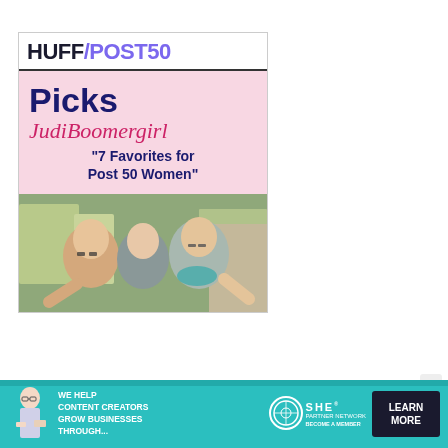[Figure (logo): HUFF/POST50 logo with dark navy HUFF and purple /POST50 text]
[Figure (infographic): HuffPost50 Picks banner with pink background. Text reads 'Picks' in bold navy, 'JudiBoomergirl' in cursive pink/red, and '"7 Favorites for Post 50 Women"' in bold navy.]
[Figure (photo): Three people smiling outdoors, two women and one young man, in a travel/outdoor setting with buildings in background.]
[Figure (infographic): SHE Partner Network advertisement banner on teal background. Text: 'WE HELP CONTENT CREATORS GROW BUSINESSES THROUGH...' with SHE logo and 'LEARN MORE' button.]